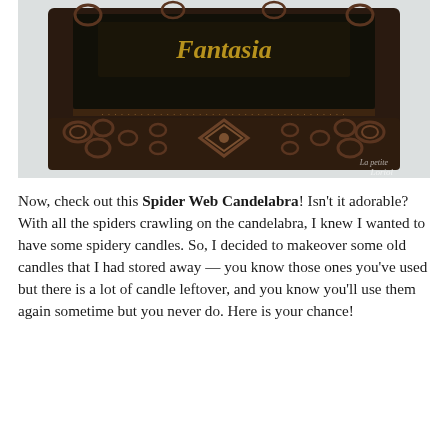[Figure (photo): A decorative ornate bronze/copper-colored Spider Web Candelabra frame with scrollwork and filigree designs, photographed on a light background. A watermark reading 'La petite Loriol' is visible in the lower right.]
Now, check out this Spider Web Candelabra! Isn't it adorable? With all the spiders crawling on the candelabra, I knew I wanted to have some spidery candles. So, I decided to makeover some old candles that I had stored away — you know those ones you've used but there is a lot of candle leftover, and you know you'll use them again sometime but you never do. Here is your chance!